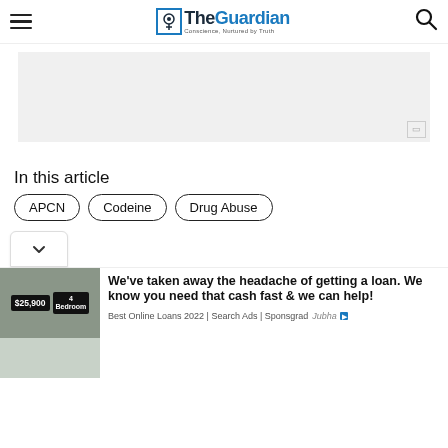The Guardian — Conscience, Nurtured by Truth
[Figure (other): Advertisement placeholder rectangle with light gray background]
In this article
APCN   Codeine   Drug Abuse
[Figure (other): Advertisement banner with house/mobile home photo showing $25,900 price sign and 4 Bedroom sign. Headline: We've taken away the headache of getting a loan. We know you need that cash fast & we can help! Source: Best Online Loans 2022 | Search Ads | Sponsgrad]